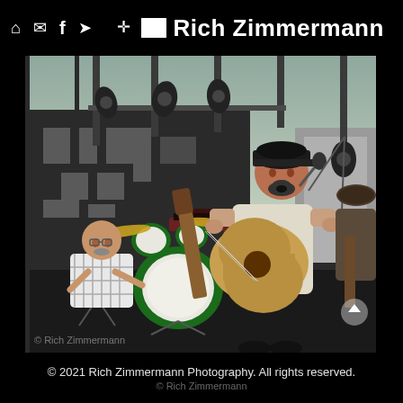Rich Zimmermann
[Figure (photo): Concert photography showing a guitarist/vocalist in a black cap and light t-shirt playing an acoustic guitar and singing into a microphone on an outdoor stage, with a drummer visible in the background behind a green drum kit. Stage lighting rigs and truss structures visible in the background.]
© 2021 Rich Zimmermann Photography. All rights reserved.